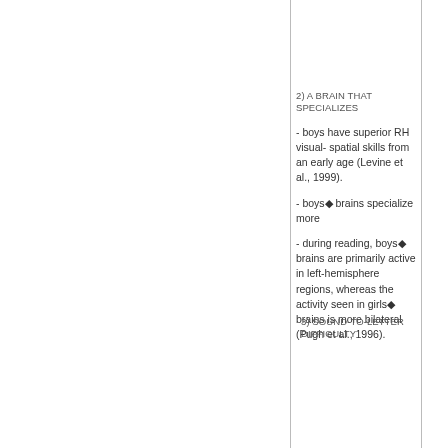2) A BRAIN THAT SPECIALIZES
- boys have superior RH visual- spatial skills from an early age (Levine et al., 1999).
- boys◆ brains specialize more
- during reading, boys◆ brains are primarily active in left-hemisphere regions, whereas the activity seen in girls◆ brains is more bilateral (Pugh et al., 1996).
3) SOUND-TO-LETTER DIFFICULTY